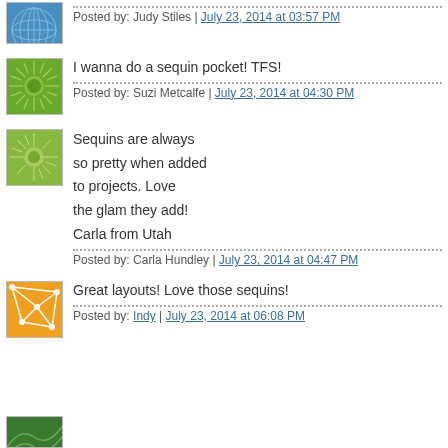Posted by: Judy Stiles | July 23, 2014 at 03:57 PM
I wanna do a sequin pocket! TFS!
Posted by: Suzi Metcalfe | July 23, 2014 at 04:30 PM
Sequins are always
so pretty when added
to projects. Love
the glam they add!
Carla from Utah
Posted by: Carla Hundley | July 23, 2014 at 04:47 PM
Great layouts! Love those sequins!
Posted by: Indy | July 23, 2014 at 06:08 PM